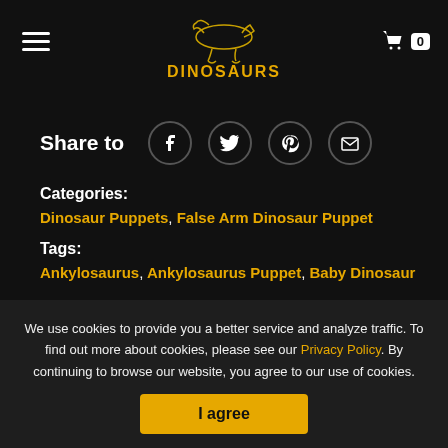DINOSAURS
Share to
Categories:
Dinosaur Puppets, False Arm Dinosaur Puppet
Tags:
Ankylosaurus, Ankylosaurus Puppet, Baby Dinosaur
We use cookies to provide you a better service and analyze traffic. To find out more about cookies, please see our Privacy Policy. By continuing to browse our website, you agree to our use of cookies.
I agree